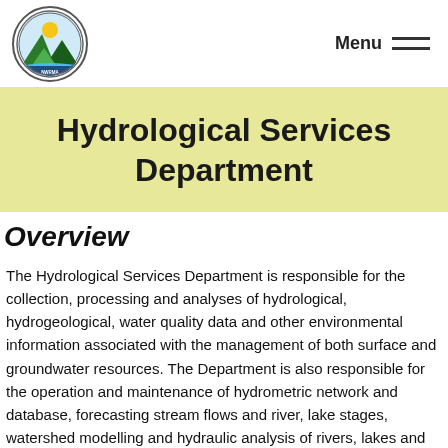[Figure (logo): NWRMA circular logo with mountain, sun, and water imagery]
Menu
Hydrological Services Department
Overview
The Hydrological Services Department is responsible for the collection, processing and analyses of hydrological, hydrogeological, water quality data and other environmental information associated with the management of both surface and groundwater resources. The Department is also responsible for the operation and maintenance of hydrometric network and database, forecasting stream flows and river, lake stages, watershed modelling and hydraulic analysis of rivers, lakes and reservoirs. Furthermore, GIS and remote sensing are vital tools that the department uses to analyse